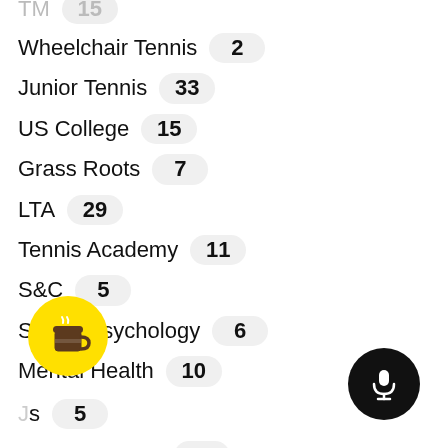Wheelchair Tennis 2
Junior Tennis 33
US College 15
Grass Roots 7
LTA 29
Tennis Academy 11
S&C 5
Sports Psychology 6
Mental Health 10
[Juniors] 5
Commentators 5